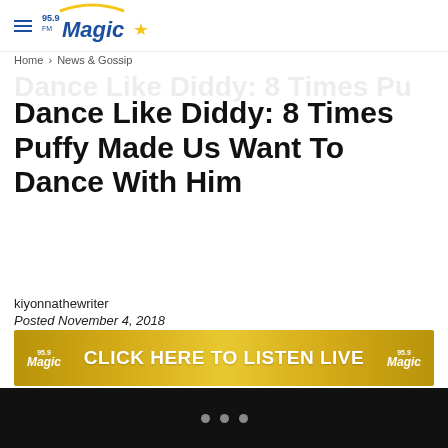95.9 Magic
Home › News & Gossip
Dance Like Diddy: 8 Times Puffy Made Us Want To Dance With Him
kiyonnathewriter
Posted November 4, 2018
[Figure (other): Advertisement banner: CLICK HERE TO LISTEN LIVE with Magic 95.9 logos on both sides, gold background]
• • •